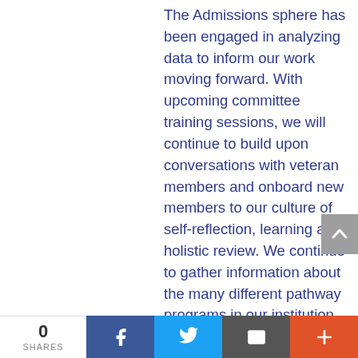The Admissions sphere has been engaged in analyzing data to inform our work moving forward. With upcoming committee training sessions, we will continue to build upon conversations with veteran members and onboard new members to our culture of self-reflection, learning and holistic review. We continue to gather information about the many different pathway programs in our institution, both known and newly discovered, so we are able to come together and learn together how we can best serve our scholars, students and prospective applicants. Learn more.